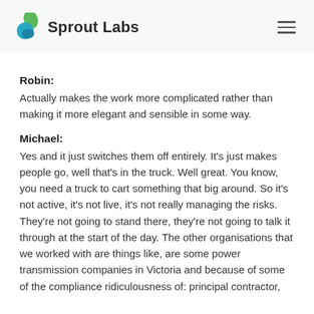Sprout Labs
Robin:
Actually makes the work more complicated rather than making it more elegant and sensible in some way.
Michael:
Yes and it just switches them off entirely. It's just makes people go, well that's in the truck. Well great. You know, you need a truck to cart something that big around. So it's not active, it's not live, it's not really managing the risks. They're not going to stand there, they're not going to talk it through at the start of the day. The other organisations that we worked with are things like, are some power transmission companies in Victoria and because of some of the compliance ridiculousness of: principal contractor,